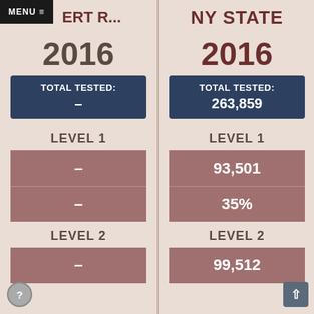MENU ≡  ERT R...
NY STATE
2016
2016
TOTAL TESTED: –
TOTAL TESTED: 263,859
LEVEL 1
LEVEL 1
–
93,501
–
35%
LEVEL 2
LEVEL 2
–
99,512